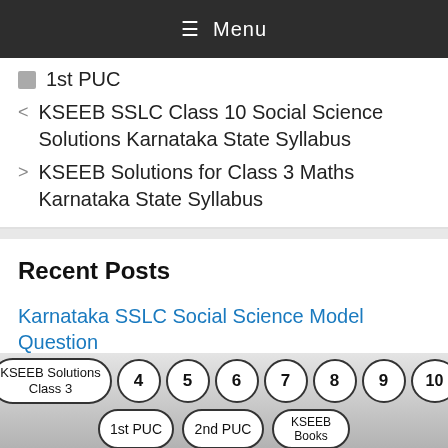≡ Menu
1st PUC
< KSEEB SSLC Class 10 Social Science Solutions Karnataka State Syllabus
> KSEEB Solutions for Class 3 Maths Karnataka State Syllabus
Recent Posts
Karnataka SSLC Social Science Model Question
[Figure (other): Pagination buttons: KSEEB Solutions Class 3, 4, 5, 6, 7, 8, 9, 10, 1st PUC, 2nd PUC, KSEEB Books]